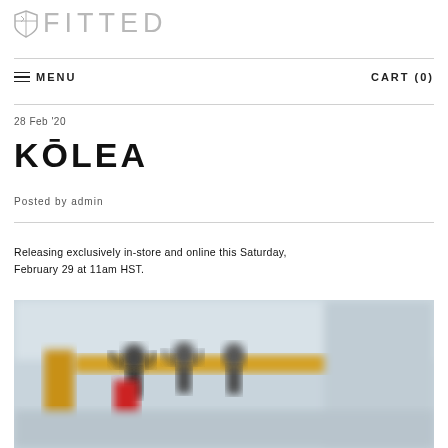FITTED
≡ MENU   CART (0)
28 Feb '20
KŌLEA
Posted by admin
Releasing exclusively in-store and online this Saturday, February 29 at 11am HST.
[Figure (photo): Blurred indoor photo showing people in a gym or studio environment with yellow and red elements visible]